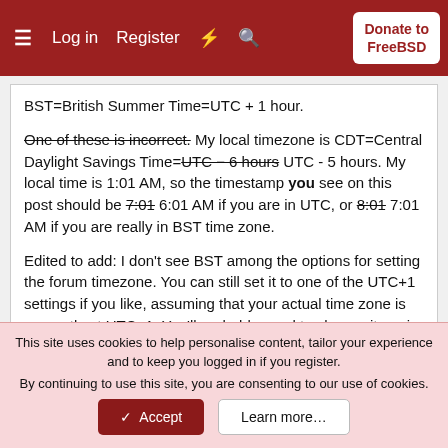Log in | Register | Donate to FreeBSD
BST=British Summer Time=UTC + 1 hour.

One of these is incorrect. My local timezone is CDT=Central Daylight Savings Time=UTC-6 hours UTC - 5 hours. My local time is 1:01 AM, so the timestamp you see on this post should be 7:01 6:01 AM if you are in UTC, or 8:01 7:01 AM if you are really in BST time zone.

Edited to add: I don't see BST among the options for setting the forum timezone. You can still set it to one of the UTC+1 settings if you like, assuming that your actual time zone is presently at UTC+1. You'll probably need to change it again at the end
This site uses cookies to help personalise content, tailor your experience and to keep you logged in if you register.
By continuing to use this site, you are consenting to our use of cookies.